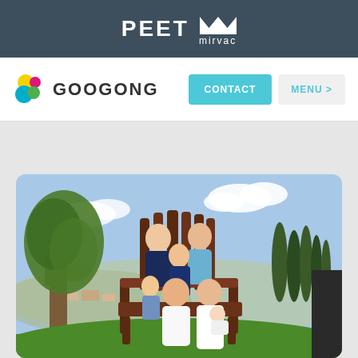PEET mirvac
[Figure (logo): Googong logo with colorful circles icon and text]
CONTACT
MENU >
[Figure (photo): Family photo of a large family (parents, children, baby) sitting and standing around a large decorative wooden Adirondack chair on a green lawn, with a large tree on the left and cypress trees on the right, residential suburb and mountains visible in background]